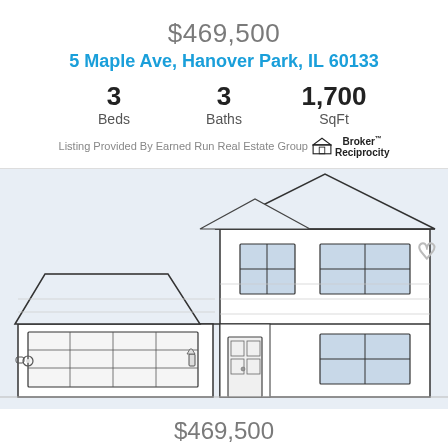$469,500
5 Maple Ave, Hanover Park, IL 60133
3 Beds  3 Baths  1,700 SqFt
Listing Provided By Earned Run Real Estate Group  Broker Reciprocity
[Figure (illustration): Architectural line drawing / elevation of a two-story house with attached two-car garage, front door, windows, and roofline details.]
$469,500